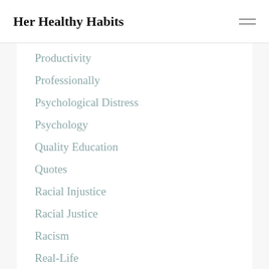Her Healthy Habits
Productivity
Professionally
Psychological Distress
Psychology
Quality Education
Quotes
Racial Injustice
Racial Justice
Racism
Real-Life
Realistic
Reflection
Relation
Relationships